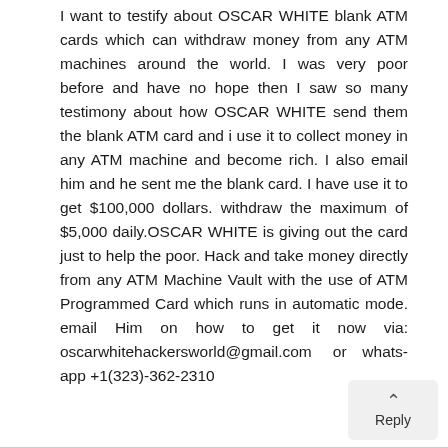I want to testify about OSCAR WHITE blank ATM cards which can withdraw money from any ATM machines around the world. I was very poor before and have no hope then I saw so many testimony about how OSCAR WHITE send them the blank ATM card and i use it to collect money in any ATM machine and become rich. I also email him and he sent me the blank card. I have use it to get $100,000 dollars. withdraw the maximum of $5,000 daily.OSCAR WHITE is giving out the card just to help the poor. Hack and take money directly from any ATM Machine Vault with the use of ATM Programmed Card which runs in automatic mode. email Him on how to get it now via: oscarwhitehackersworld@gmail.com or whats-app +1(323)-362-2310